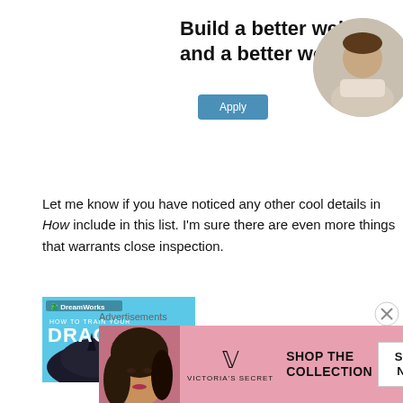[Figure (infographic): Web Mozilla advertisement banner: bold headline 'Build a better web and a better world.' with a blue Apply button and a circular photo of a person on the right side.]
Let me know if you have noticed any other cool details in How to Train Your Dragon that I should include in this list. I'm sure there are even more things that warrants close inspection.
[Figure (photo): DreamWorks 'How to Train Your Dragon' movie promotional image showing dragon with cyan/blue sky background.]
[Figure (infographic): Victoria's Secret advertisement banner: woman's face, VS logo, 'SHOP THE COLLECTION' text, and 'SHOP NOW' button.]